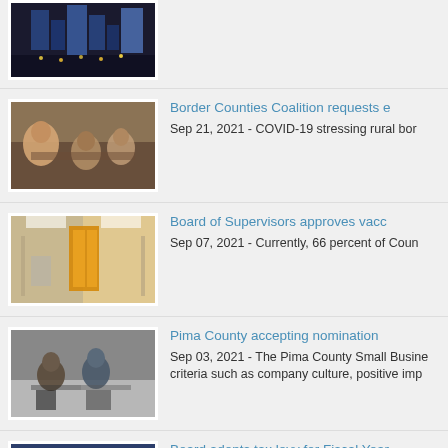[Figure (photo): Aerial view of a city at night with buildings lit up]
[Figure (photo): People sitting around a conference table in a meeting]
Border Counties Coalition requests e
Sep 21, 2021 - COVID-19 stressing rural bor
[Figure (photo): Empty hallway with yellow doors and signage]
Board of Supervisors approves vacc
Sep 07, 2021 - Currently, 66 percent of Coun
[Figure (photo): Workers handling items with gloves on a table]
Pima County accepting nomination
Sep 03, 2021 - The Pima County Small Busine criteria such as company culture, positive imp
[Figure (photo): View of a building interior with arched windows]
Board adopts tax levy for Fiscal Year
Aug 16, 2021 - Last action the board had to ta